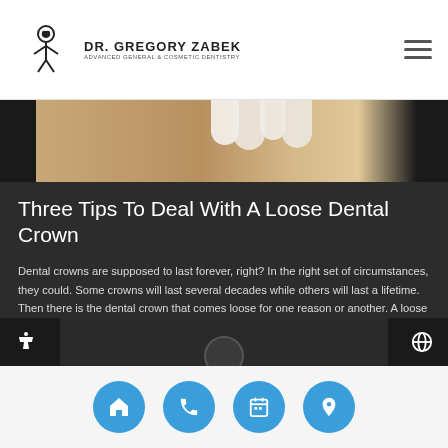DR. GREGORY ZABEK — Advanced General & Cosmetic Dentistry
[Figure (photo): Close-up photo of dental crown or tooth model on wooden surface]
Three Tips To Deal With A Loose Dental Crown
Dental crowns are supposed to last forever, right? In the right set of circumstances, they could. Some crowns will last several decades while others will last a lifetime. Then there is the dental crown that comes loose for one reason or another. A loose crown means that a trip to the dentist is in the…
[Figure (photo): Second article image, partially visible at bottom]
Navigation bar with home, phone, calendar, and location icons